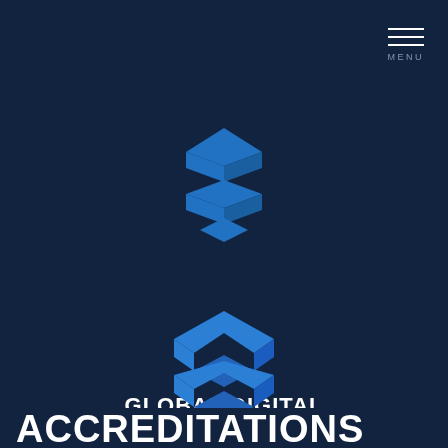[Figure (logo): Hamburger menu icon with three horizontal white lines and MENU label below]
[Figure (logo): Global Digital Assurance logo: a blue geometric hexagon shape made of chevron/shield segments stacked vertically]
GLOBAL DIGITAL ASSURANCE
ACCREDITATIONS